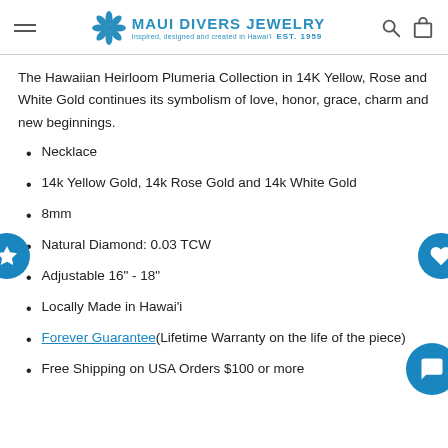Maui Divers Jewelry — Inspired, designed and created in Hawai'i EST. 1959
The Hawaiian Heirloom Plumeria Collection in 14K Yellow, Rose and White Gold continues its symbolism of love, honor, grace, charm and new beginnings.
Necklace
14k Yellow Gold, 14k Rose Gold and 14k White Gold
8mm
Natural Diamond: 0.03 TCW
Adjustable 16" - 18"
Locally Made in Hawai'i
Forever Guarantee (Lifetime Warranty on the life of the piece)
Free Shipping on USA Orders $100 or more